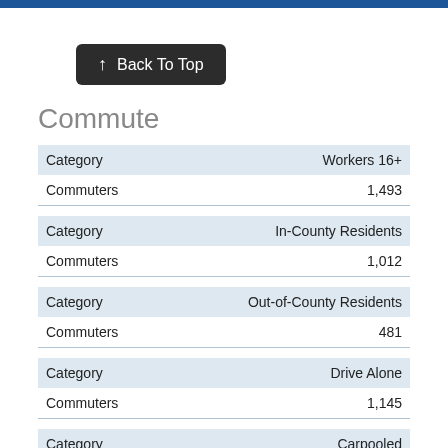[Figure (other): Back To Top button]
Commute
| Category | Workers 16+ |
| --- | --- |
| Commuters | 1,493 |
| Category | In-County Residents |
| --- | --- |
| Commuters | 1,012 |
| Category | Out-of-County Residents |
| --- | --- |
| Commuters | 481 |
| Category | Drive Alone |
| --- | --- |
| Commuters | 1,145 |
| Category | Carpooled |
| --- | --- |
| Commuters | 161 |